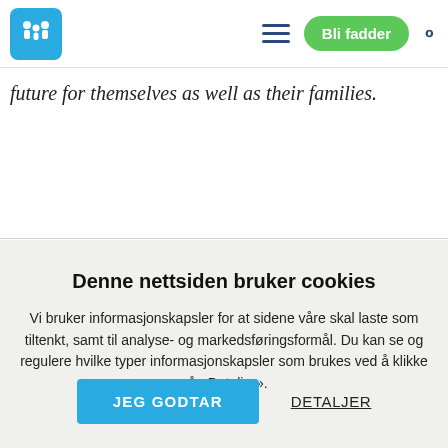Bli fadder
future for themselves as well as their families.
Denne nettsiden bruker cookies
Vi bruker informasjonskapsler for at sidene våre skal laste som tiltenkt, samt til analyse- og markedsføringsformål. Du kan se og regulere hvilke typer informasjonskapsler som brukes ved å klikke på «Detaljer».
JEG GODTAR
DETALJER